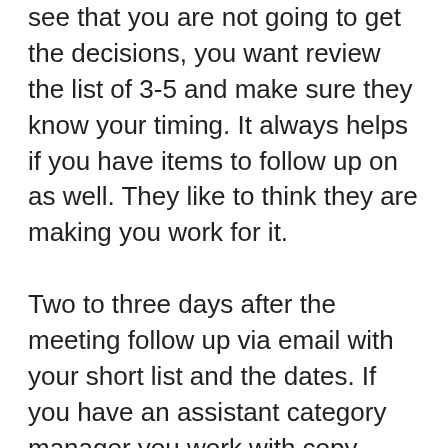see that you are not going to get the decisions, you want review the list of 3-5 and make sure they know your timing. It always helps if you have items to follow up on as well. They like to think they are making you work for it.
Two to three days after the meeting follow up via email with your short list and the dates. If you have an assistant category manager you work with copy them on the email. The work might get delegated which is fine, as long as it gets done. Depending on your time lines follow